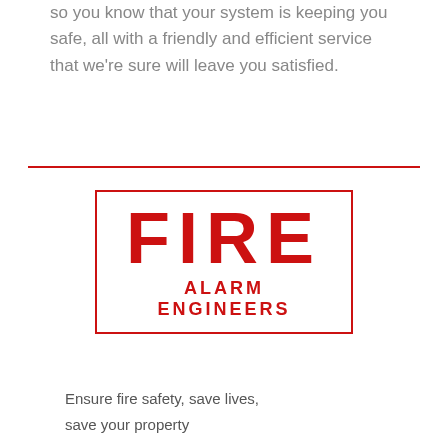so you know that your system is keeping you safe, all with a friendly and efficient service that we're sure will leave you satisfied.
[Figure (logo): Fire Alarm Engineers logo: large red text 'FIRE' with 'ALARM ENGINEERS' below, all inside a red rectangular border]
Ensure fire safety, save lives,
save your property